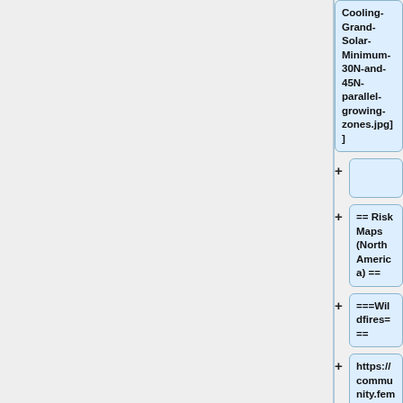Cooling-Grand-Solar-Minimum-30N-and-45N-parallel-growing-zones.jpg]]
+
== Risk Maps (North America) ==
===Wildfires===
https://community.fema.gov/servlet/servlet.FileDownload?retURL=%2Fapex%2Fbe_smart%3Fid%3Da0at00000010FCTAA2%26lang%3De